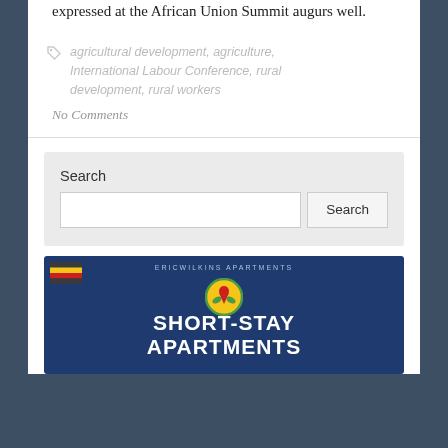expressed at the African Union Summit augurs well.
agricultural development, agriculture, International Labour Conference, rural development, rural workers
No Comments
Search
[Figure (infographic): Advertisement for EricWilkins Apartments Short-Stay Apartments, dark blue background with Uganda flag, circular logo, and bold white text reading SHORT-STAY APARTMENTS]